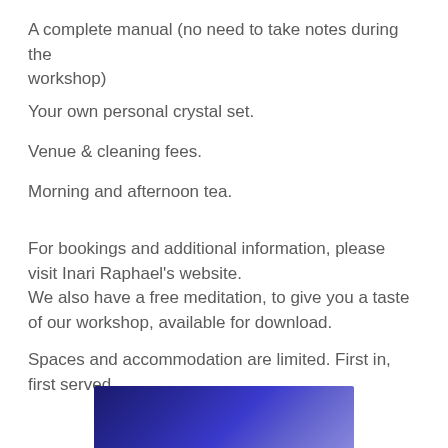A complete manual (no need to take notes during the workshop)
Your own personal crystal set.
Venue & cleaning fees.
Morning and afternoon tea.
For bookings and additional information, please visit Inari Raphael's website.
We also have a free meditation, to give you a taste of our workshop, available for download.
Spaces and accommodation are limited. First in, first served.
[Figure (photo): Partial view of a dark blue/purple image visible at the bottom of the page]